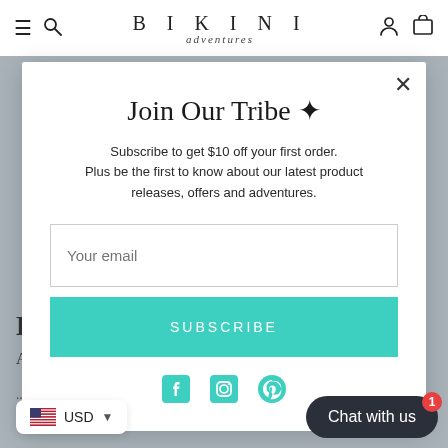BIKINI adventures
Join Our Tribe ✳
Subscribe to get $10 off your first order. Plus be the first to know about our latest product releases, offers and adventures.
Your email
SUBSCRIBE
[Figure (other): Social media icons: Facebook, Instagram, Pinterest in teal color]
USD
Chat with us